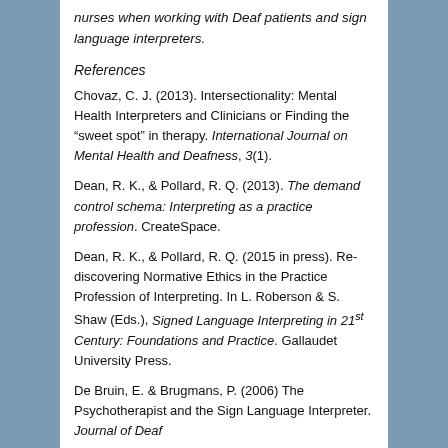nurses when working with Deaf patients and sign language interpreters.
References
Chovaz, C. J. (2013). Intersectionality: Mental Health Interpreters and Clinicians or Finding the “sweet spot” in therapy. International Journal on Mental Health and Deafness, 3(1).
Dean, R. K., & Pollard, R. Q. (2013). The demand control schema: Interpreting as a practice profession. CreateSpace.
Dean, R. K., & Pollard, R. Q. (2015 in press). Re-discovering Normative Ethics in the Practice Profession of Interpreting. In L. Roberson & S. Shaw (Eds.), Signed Language Interpreting in 21st Century: Foundations and Practice. Gallaudet University Press.
De Bruin, E. & Brugmans, P. (2006) The Psychotherapist and the Sign Language Interpreter. Journal of Deaf...